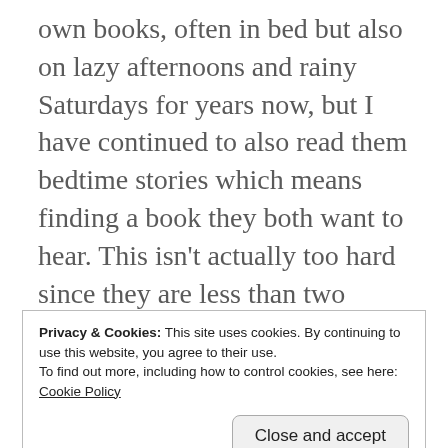own books, often in bed but also on lazy afternoons and rainy Saturdays for years now, but I have continued to also read them bedtime stories which means finding a book they both want to hear. This isn't actually too hard since they are less than two years apart and share many interests but still takes some hunting. Plus we also listen to books in the car, sometimes the same one as we are reading aloud but usually not, so we have been exposed to quite a lot of children's literature. My oldest the other day asked me what had been my favorite book so
Privacy & Cookies: This site uses cookies. By continuing to use this website, you agree to their use.
To find out more, including how to control cookies, see here:
Cookie Policy
Close and accept
anyone looking for ideas for their own family